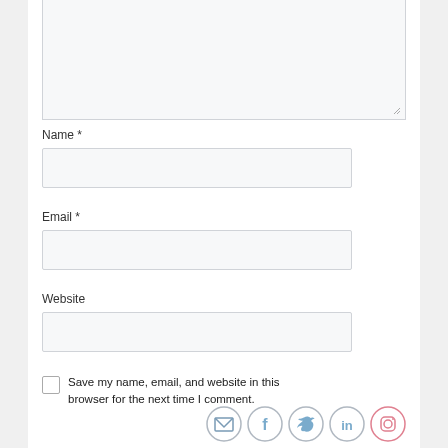[Figure (screenshot): Textarea input box at top of page, partially visible with resize handle at bottom right]
Name *
[Figure (screenshot): Empty text input field for Name]
Email *
[Figure (screenshot): Empty text input field for Email]
Website
[Figure (screenshot): Empty text input field for Website]
Save my name, email, and website in this browser for the next time I comment.
[Figure (infographic): Row of social media icons: email/envelope, Facebook, Twitter, LinkedIn, Instagram]